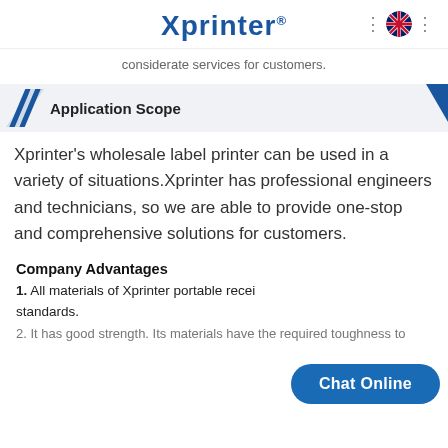Xprinter®
considerate services for customers.
Application Scope
Xprinter's wholesale label printer can be used in a variety of situations.Xprinter has professional engineers and technicians, so we are able to provide one-stop and comprehensive solutions for customers.
Company Advantages
1. All materials of Xprinter portable recei... standards.
2. It has good strength. Its materials have the required toughness to